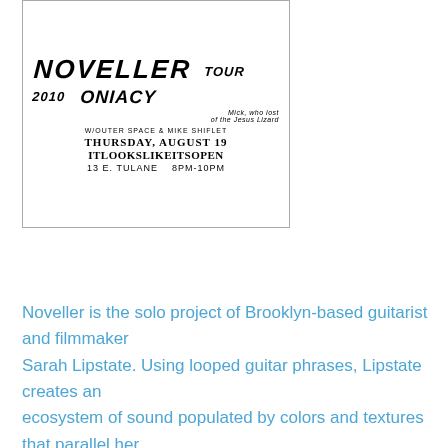[Figure (other): Concert flyer for Noveller, tour 2010, with Oni Acy (Mick who lost of the Jesus Lizard), w/ Outer Space & Mike Shiflet. Thursday, August 19, ITLOOKSLIKEITSOPEN, 13 E. Tulane, 8PM-10PM. Hand-drawn/printed style.]
Noveller is the solo project of Brooklyn-based guitarist and filmmaker Sarah Lipstate. Using looped guitar phrases, Lipstate creates an ecosystem of sound populated by colors and textures that parallel her 16mm hand-painted visuals. Her new album, 'Desert Fires', is out now on her own imprint, Saffron Recordings. She is previously a member of Parts & Labor and Cold Cave. Noveller has toured supporting Xiu Xiu, the Jesus Lizard, Man Forever, and Emeralds. Lipstate is currently working with Carla Bozulich (Evangelista) on an